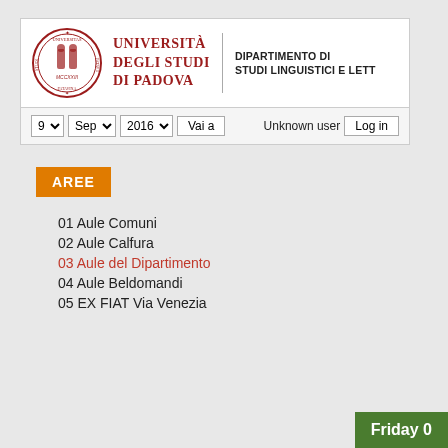[Figure (logo): Università degli Studi di Padova logo with seal and university name in dark red, plus Dipartimento di Studi Linguistici e Lett... text]
[Figure (screenshot): Navigation bar with date dropdowns: 9, Sep, 2016, Vai a button, Unknown user label, Log in button]
AREE
01 Aule Comuni
02 Aule Calfura
03 Aule del Dipartimento
04 Aule Beldomandi
05 EX FIAT Via Venezia
Friday 0